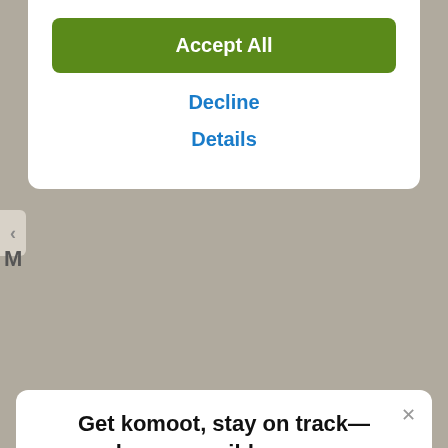Accept All
Decline
Details
Get komoot, stay on track—however wild you go
With turn-by-turn voice navigation and offline maps, the komoot app will always keep your adventure on track, even when the internet's down or unreliable.
[Figure (screenshot): Download on the App Store button with Apple logo]